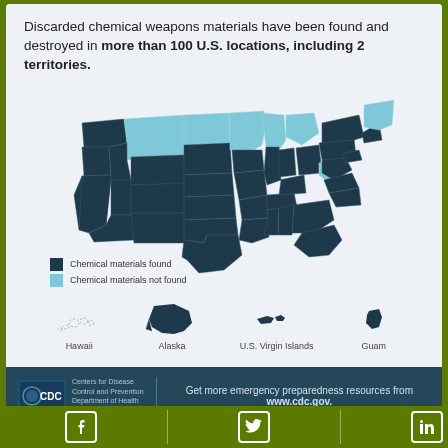Discarded chemical weapons materials have been found and destroyed in more than 100 U.S. locations, including 2 territories.
[Figure (map): US map showing states where chemical materials were found (dark blue-grey) vs not found (light blue). Most states are dark. Light blue states include Montana, Minnesota, Wisconsin, Michigan, Maine/Vermont/New Hampshire area, and West Virginia. Inset maps of Hawaii (dotted outline - not found), Alaska (dark - found), U.S. Virgin Islands (dark - found), and Guam (dark - found).]
Chemical materials found / Chemical materials not found
Get more emergency preparedness resources from www.cdc.gov.